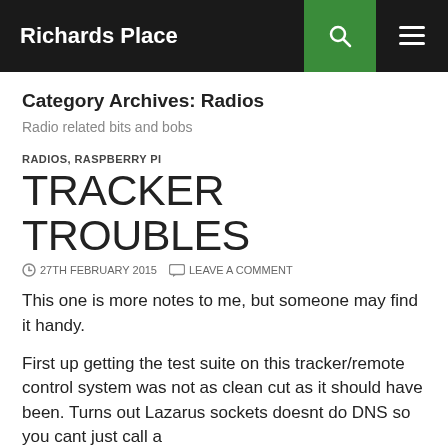Richards Place
Category Archives: Radios
Radio related bits and bobs
RADIOS, RASPBERRY PI
TRACKER TROUBLES
27TH FEBRUARY 2015   LEAVE A COMMENT
This one is more notes to me, but someone may find it handy.
First up getting the test suite on this tracker/remote control system was not as clean cut as it should have been. Turns out Lazarus sockets doesnt do DNS so you cant just call a